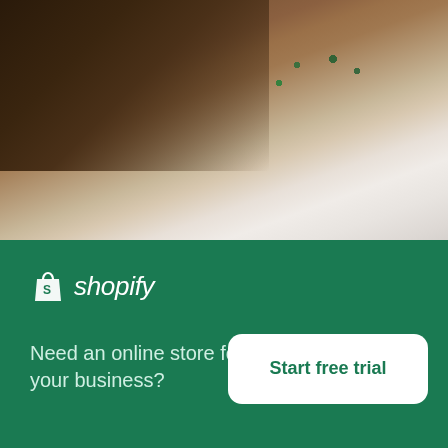[Figure (photo): Aerial photo of a brown hillside with green-roofed buildings and a snow-covered lower slope with scattered rocks]
Brown Hill Side And Green Roofed Buildings
High resolution download ↓
[Figure (photo): Partial preview of another photo showing a cloudy sky]
[Figure (logo): Shopify logo — shopping bag icon and italic wordmark 'shopify' in white on green background]
Need an online store for your business?
Start free trial